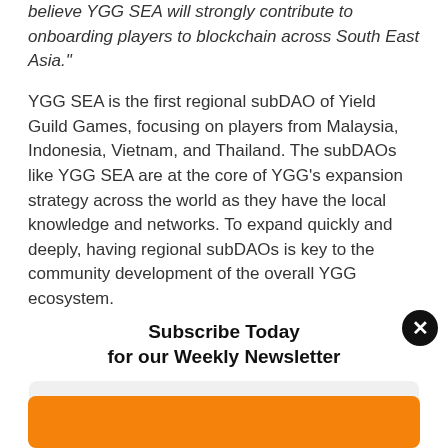believe YGG SEA will strongly contribute to onboarding players to blockchain across South East Asia."
YGG SEA is the first regional subDAO of Yield Guild Games, focusing on players from Malaysia, Indonesia, Vietnam, and Thailand. The subDAOs like YGG SEA are at the core of YGG’s expansion strategy across the world as they have the local knowledge and networks. To expand quickly and deeply, having regional subDAOs is key to the community development of the overall YGG ecosystem.
In YGG Ecosystem, the goal is not just to onboard players as scholars; but also to be the bridge that brings the Web2
Subscribe Today
for our Weekly Newsletter
Email Address *